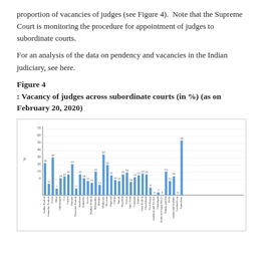proportion of vacancies of judges (see Figure 4). Note that the Supreme Court is monitoring the procedure for appointment of judges to subordinate courts.
For an analysis of the data on pendency and vacancies in the Indian judiciary, see here.
Figure 4
: Vacancy of judges across subordinate courts (in %) (as on February 20, 2020)
[Figure (bar-chart): Vacancy of judges across subordinate courts (in %) (as on February 20, 2020)]